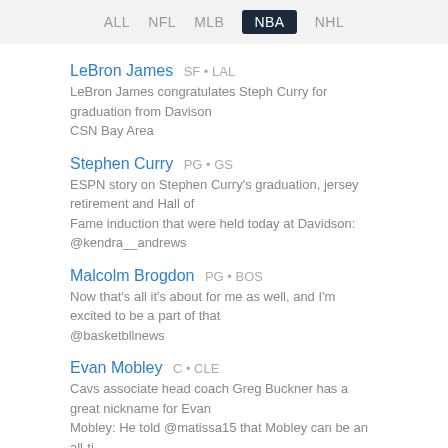ALL  NFL  MLB  NBA  NHL
LeBron James  SF • LAL
LeBron James congratulates Steph Curry for graduation from Davison
CSN Bay Area
Stephen Curry  PG • GS
ESPN story on Stephen Curry's graduation, jersey retirement and Hall of Fame induction that were held today at Davidson:
@kendra__andrews
Malcolm Brogdon  PG • BOS
Now that's all it's about for me as well, and I'm excited to be a part of that
@basketbllnews
Evan Mobley  C • CLE
Cavs associate head coach Greg Buckner has a great nickname for Evan Mobley: He told @matissa15 that Mobley can be an all-ti
@AlexKennedyNBA
WAIVER TRENDS
More Trends
Most Added	Most Dropped